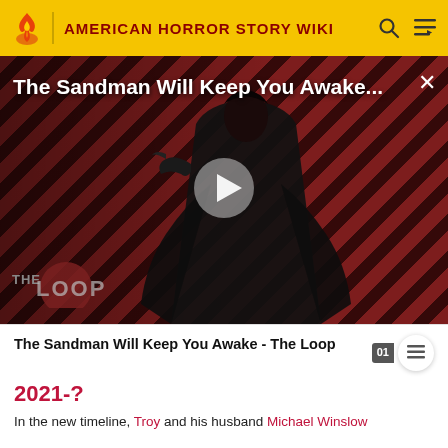AMERICAN HORROR STORY WIKI
[Figure (screenshot): Video thumbnail with diagonal red/dark stripe background showing a dark-clad figure holding a raven. Title overlay reads 'The Sandman Will Keep You Awake...' with a play button in the center and 'THE LOOP' logo in the lower left.]
The Sandman Will Keep You Awake - The Loop
2021-?
In the new timeline, Troy and his husband Michael Winslow